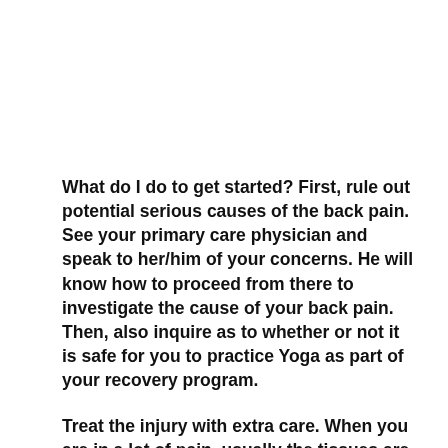What do I do to get started? First, rule out potential serious causes of the back pain. See your primary care physician and speak to her/him of your concerns. He will know how to proceed from there to investigate the cause of your back pain. Then, also inquire as to whether or not it is safe for you to practice Yoga as part of your recovery program.
Treat the injury with extra care. When you are in a lot of pain, usually the tissues are inflamed, it’s critical that you proceed at a slow pace. If you work in an aggressive fashion in order to improve